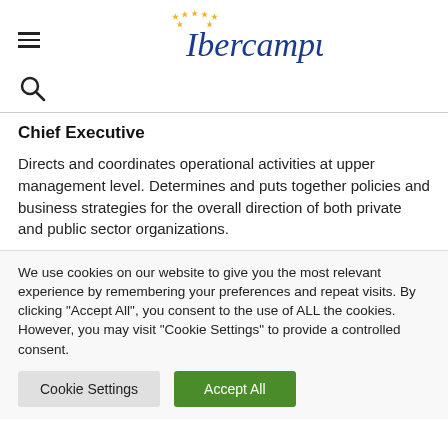Ibercampus
[Figure (logo): Ibercampus logo with star decorations and italic script text]
Chief Executive
Directs and coordinates operational activities at upper management level. Determines and puts together policies and business strategies for the overall direction of both private and public sector organizations.
We use cookies on our website to give you the most relevant experience by remembering your preferences and repeat visits. By clicking "Accept All", you consent to the use of ALL the cookies. However, you may visit "Cookie Settings" to provide a controlled consent.